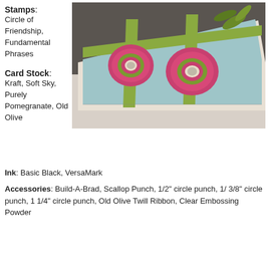[Figure (photo): A handmade greeting card with light blue card stock, pink scalloped flowers with Old Olive centers, and green twill ribbon, photographed at an angle on a white surface.]
Stamps: Circle of Friendship, Fundamental Phrases
Card Stock: Kraft, Soft Sky, Purely Pomegranate, Old Olive
Ink: Basic Black, VersaMark
Accessories: Build-A-Brad, Scallop Punch, 1/2" circle punch, 1/ 3/8" circle punch, 1 1/4" circle punch, Old Olive Twill Ribbon, Clear Embossing Powder